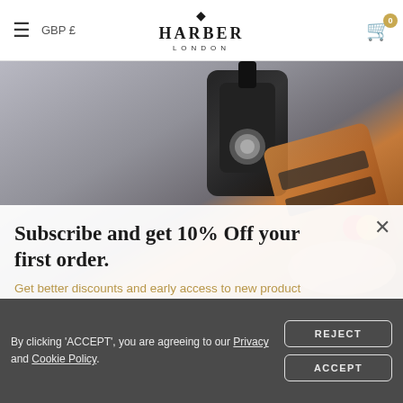GBP £  HARBER LONDON
[Figure (photo): Background photo showing black leather AirTag holder keychain and a tan leather card wallet being held, partially visible behind popup overlay]
Subscribe and get 10% Off your first order.
Get better discounts and early access to new product launches and more.
email@example.com  SUBMIT
By clicking 'ACCEPT', you are agreeing to our Privacy and Cookie Policy.
REJECT  ACCEPT